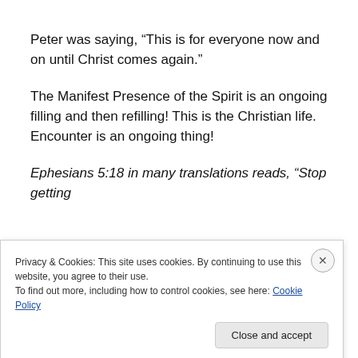Peter was saying, “This is for everyone now and on until Christ comes again.”
The Manifest Presence of the Spirit is an ongoing filling and then refilling! This is the Christian life. Encounter is an ongoing thing!
Ephesians 5:18 in many translations reads, “Stop getting
Privacy & Cookies: This site uses cookies. By continuing to use this website, you agree to their use.
To find out more, including how to control cookies, see here: Cookie Policy